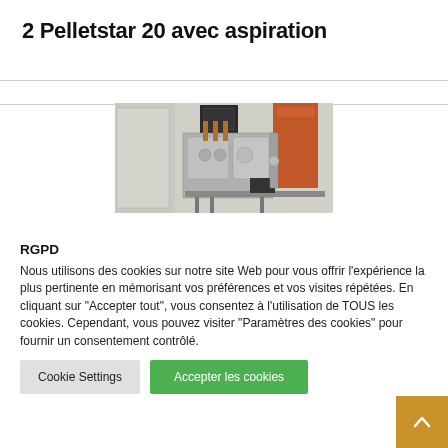2 Pelletstar 20 avec aspiration
[Figure (photo): Photo of industrial heating/pellet equipment installation showing pipes, valves, and mechanical components in a room with white walls and an orange component visible.]
RGPD
Nous utilisons des cookies sur notre site Web pour vous offrir l'expérience la plus pertinente en mémorisant vos préférences et vos visites répétées. En cliquant sur "Accepter tout", vous consentez à l'utilisation de TOUS les cookies. Cependant, vous pouvez visiter "Paramètres des cookies" pour fournir un consentement contrôlé.